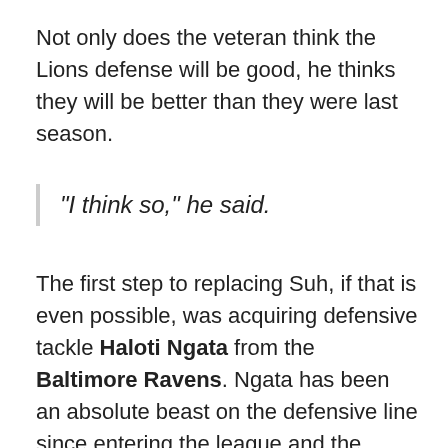Not only does the veteran think the Lions defense will be good, he thinks they will be better than they were last season.
“I think so,” he said.
The first step to replacing Suh, if that is even possible, was acquiring defensive tackle Haloti Ngata from the Baltimore Ravens. Ngata has been an absolute beast on the defensive line since entering the league and the Lions are